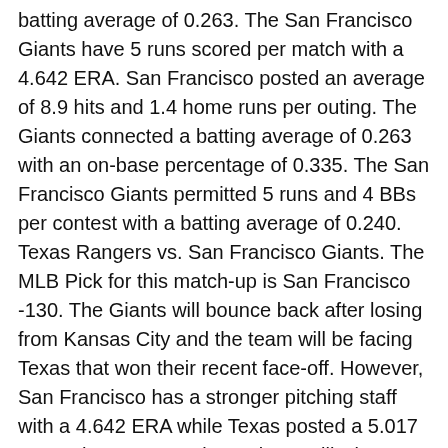batting average of 0.263. The San Francisco Giants have 5 runs scored per match with a 4.642 ERA. San Francisco posted an average of 8.9 hits and 1.4 home runs per outing. The Giants connected a batting average of 0.263 with an on-base percentage of 0.335. The San Francisco Giants permitted 5 runs and 4 BBs per contest with a batting average of 0.240.
Texas Rangers vs. San Francisco Giants. The MLB Pick for this match-up is San Francisco -130. The Giants will bounce back after losing from Kansas City and the team will be facing Texas that won their recent face-off. However, San Francisco has a stronger pitching staff with a 4.642 ERA while Texas posted a 5.017 ERA. The San Francisco Giants will win offered at -130 to a predicted score of 6-4.
MLB Free Premium Picks Predictions. Today's entire Major League Baseball premium pick predictions are free right now at 1-888-711-4311 or text the word WINBIG to 760-670-3130 to receive them. Included are Best Bets, Total Picks and First Five Inning plays, as featured...